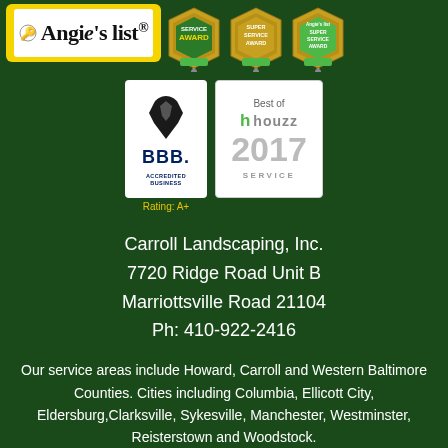[Figure (logo): Angie's List logo with yellow background, and three award badge medallions (Service Award, Super Service Award, Super Service Award)]
[Figure (logo): BBB Accredited Business logo (Rating: A+) and Best of Houzz 2017 Service badge]
Carroll Landscaping, Inc.
7720 Ridge Road Unit B
Marriottsville Road 21104
Ph: 410-922-2416
Our service areas include Howard, Carroll and Western Baltimore Counties. Cities including Columbia, Ellicott City, Eldersburg,Clarksville, Sykesville, Manchester, Westminster, Reisterstown and Woodstock.
Contact Us